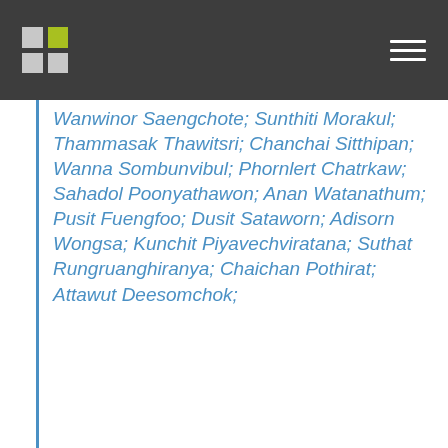Wanwinor Saengchote; Sunthiti Morakul; Thammasak Thawitsri; Chanchai Sitthipan; Wanna Sombunvibul; Phornlert Chatrkaw; Sahadol Poonyathawon; Anan Watanathum; Pusit Fuengfoo; Dusit Sataworn; Adisorn Wongsa; Kunchit Piyavechviratana; Suthat Rungruanghiranya; Chaichan Pothirat; Attawut Deesomchok;